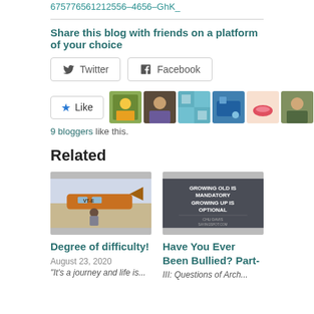675776561212556–4656–GhK_
Share this blog with friends on a platform of your choice
Twitter   Facebook
9 bloggers like this.
Related
[Figure (photo): Photo of a person sitting in front of a small orange plane with registration VT-E...]
Degree of difficulty!
August 23, 2020
[Figure (photo): Dark grey motivational image with white text: GROWING OLD IS MANDATORY GROWING UP IS OPTIONAL - CHU DAVIS SAYINGSPOT.COM]
Have You Ever Been Bullied? Part-
III: Questions of Arch...